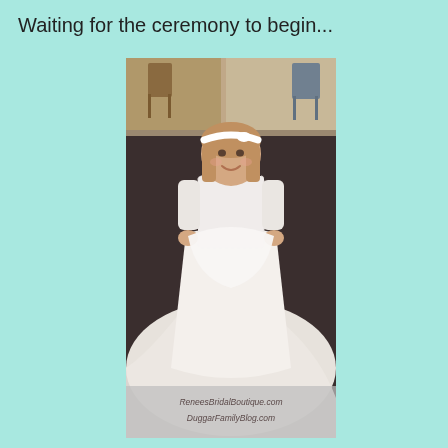Waiting for the ceremony to begin...
[Figure (photo): A young flower girl in a white lace dress with a white headband and bow, holding up a large white bridal train/veil, standing on dark carpet in what appears to be a church or venue hallway. The bottom of the photo has two watermark lines reading 'ReneesBridalBoutique.com' and 'DuggarFamilyBlog.com'.]